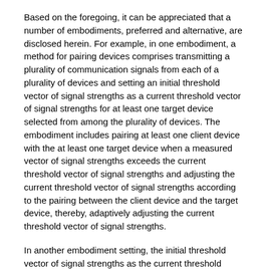Based on the foregoing, it can be appreciated that a number of embodiments, preferred and alternative, are disclosed herein. For example, in one embodiment, a method for pairing devices comprises transmitting a plurality of communication signals from each of a plurality of devices and setting an initial threshold vector of signal strengths as a current threshold vector of signal strengths for at least one target device selected from among the plurality of devices. The embodiment includes pairing at least one client device with the at least one target device when a measured vector of signal strengths exceeds the current threshold vector of signal strengths and adjusting the current threshold vector of signal strengths according to the pairing between the client device and the target device, thereby, adaptively adjusting the current threshold vector of signal strengths.
In another embodiment setting, the initial threshold vector of signal strengths as the current threshold vector of signal strengths further comprises storing the current threshold vector of signal strengths in a memory associated with a server in communication with the target